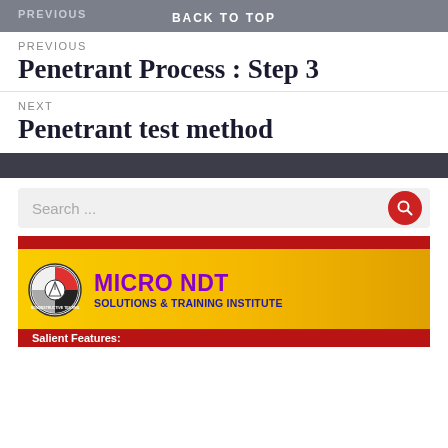BACK TO TOP
PREVIOUS
Penetrant Process : Step 3
NEXT
Penetrant test method
Search ...
[Figure (logo): Micro NDT Solutions & Training Institute banner with circular logo, yellow background, purple title text MICRO NDT and blue subtitle SOLUTIONS & TRAINING INSTITUTE, red top and bottom bars, Salient Features label]
Salient Features: